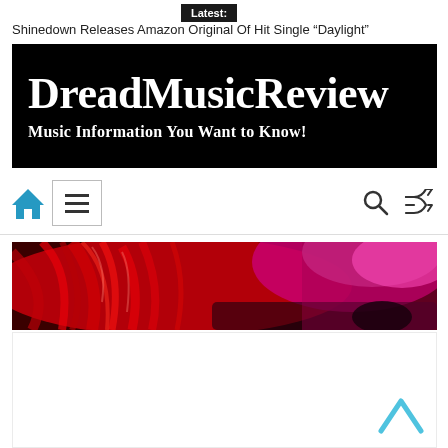Latest:
Shinedown Releases Amazon Original Of Hit Single “Daylight”
[Figure (logo): DreadMusicReview logo — white serif text on black background. Title: DreadMusicReview, Subtitle: Music Information You Want to Know!]
[Figure (screenshot): Website navigation bar with home icon (blue), hamburger menu box, search icon, and shuffle/random icon]
[Figure (photo): Concert photo showing red and pink/magenta colored stage lighting with what appears to be a performer with long red hair under vivid colored lights]
[Figure (screenshot): White content area with a blue upward chevron/arrow icon in bottom right corner]